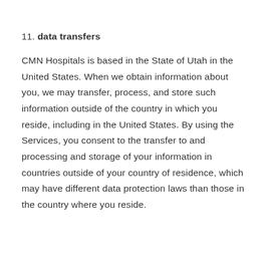11. data transfers
CMN Hospitals is based in the State of Utah in the United States. When we obtain information about you, we may transfer, process, and store such information outside of the country in which you reside, including in the United States. By using the Services, you consent to the transfer to and processing and storage of your information in countries outside of your country of residence, which may have different data protection laws than those in the country where you reside.